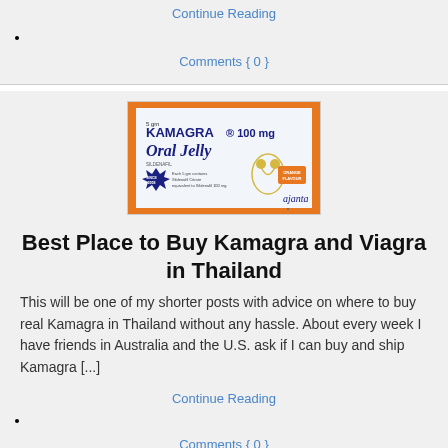Continue Reading
Comments { 0 }
[Figure (photo): Kamagra 100 mg Oral Jelly packet by Ajanta pharmaceuticals, orange-trimmed silver foil packet]
Best Place to Buy Kamagra and Viagra in Thailand
This will be one of my shorter posts with advice on where to buy real Kamagra in Thailand without any hassle. About every week I have friends in Australia and the U.S. ask if I can buy and ship Kamagra [...]
Continue Reading
Comments { 0 }